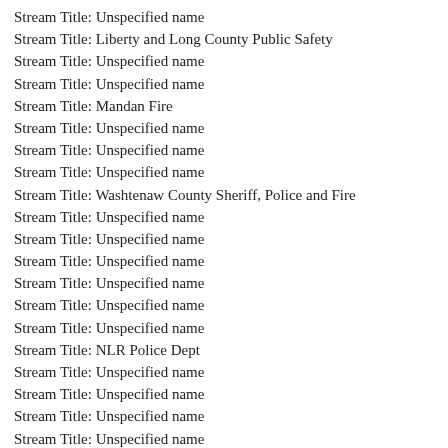Stream Title: Unspecified name
Stream Title: Liberty and Long County Public Safety
Stream Title: Unspecified name
Stream Title: Unspecified name
Stream Title: Mandan Fire
Stream Title: Unspecified name
Stream Title: Unspecified name
Stream Title: Unspecified name
Stream Title: Washtenaw County Sheriff, Police and Fire
Stream Title: Unspecified name
Stream Title: Unspecified name
Stream Title: Unspecified name
Stream Title: Unspecified name
Stream Title: Unspecified name
Stream Title: Unspecified name
Stream Title: NLR Police Dept
Stream Title: Unspecified name
Stream Title: Unspecified name
Stream Title: Unspecified name
Stream Title: Unspecified name
Stream Title: Unspecified name
Stream Title: St Croix County Sheriff, Fire and EMS, State Patrol Eau Claire Post
Stream Title: Greenwood County Fire
Stream Title: Fayette County Fire